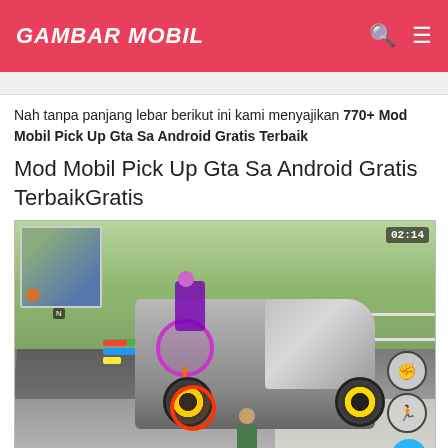GAMBAR MOBIL
Nah tanpa panjang lebar berikut ini kami menyajikan 770+ Mod Mobil Pick Up Gta Sa Android Gratis Terbaik
Mod Mobil Pick Up Gta Sa Android Gratis TerbaikGratis
[Figure (screenshot): GTA SA Android gameplay screenshot showing a modified pick-up truck with yellow wheels, a character in green clothes, minimap in top-left, timer '02:14' in top-right, HUD bars, and action buttons on the right side]